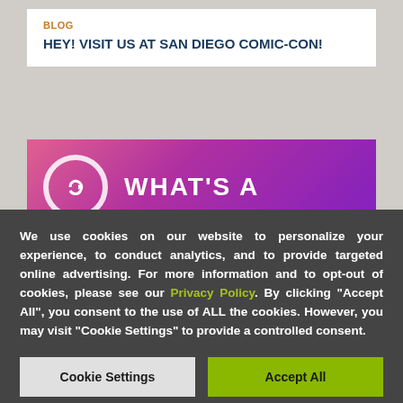BLOG
HEY! VISIT US AT SAN DIEGO COMIC-CON!
[Figure (illustration): Gradient banner with pink-to-purple background, white circle icon with arrow, and large white uppercase text 'WHAT'S A']
We use cookies on our website to personalize your experience, to conduct analytics, and to provide targeted online advertising. For more information and to opt-out of cookies, please see our Privacy Policy. By clicking "Accept All", you consent to the use of ALL the cookies. However, you may visit "Cookie Settings" to provide a controlled consent.